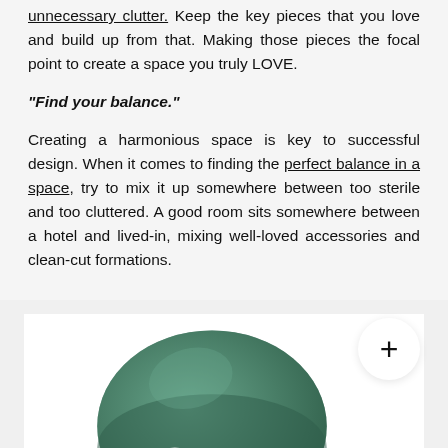unnecessary clutter. Keep the key pieces that you love and build up from that. Making those pieces the focal point to create a space you truly LOVE.
“Find your balance.”
Creating a harmonious space is key to successful design. When it comes to finding the perfect balance in a space, try to mix it up somewhere between too sterile and too cluttered. A good room sits somewhere between a hotel and lived-in, mixing well-loved accessories and clean-cut formations.
[Figure (photo): Partial view of a green ceramic or stone dome-shaped object on a light grey/white background, with a white circular button featuring a plus (+) sign in the upper right area.]